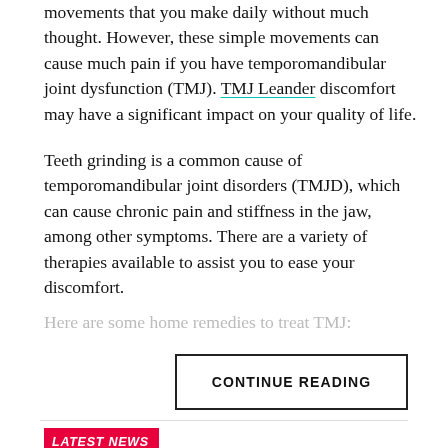movements that you make daily without much thought. However, these simple movements can cause much pain if you have temporomandibular joint dysfunction (TMJ). TMJ Leander discomfort may have a significant impact on your quality of life.
Teeth grinding is a common cause of temporomandibular joint disorders (TMJD), which can cause chronic pain and stiffness in the jaw, among other symptoms. There are a variety of therapies available to assist you to ease your discomfort.
Here are some home remedies to treat TMJ:
CONTINUE READING
LATEST NEWS